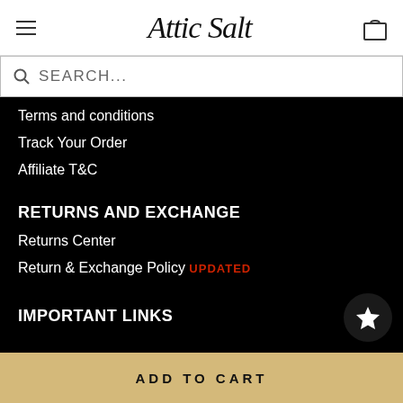Attic Salt
SEARCH...
Terms and conditions
Track Your Order
Affiliate T&C
RETURNS AND EXCHANGE
Returns Center
Return & Exchange Policy UPDATED
IMPORTANT LINKS
ADD TO CART